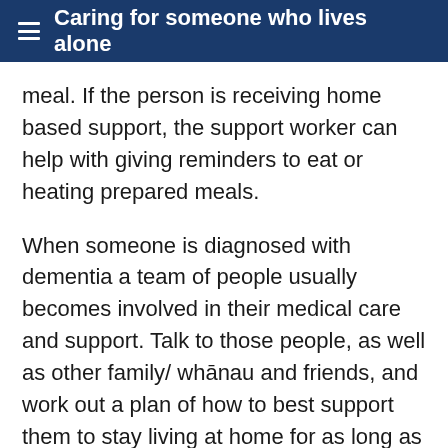Caring for someone who lives alone
meal. If the person is receiving home based support, the support worker can help with giving reminders to eat or heating prepared meals.
When someone is diagnosed with dementia a team of people usually becomes involved in their medical care and support. Talk to those people, as well as other family/ whānau and friends, and work out a plan of how to best support them to stay living at home for as long as possible.
ome situations, however, may compromise the person's safety and wellbeing and a